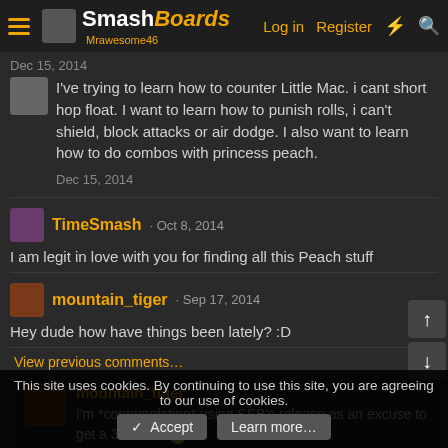SmashBoards - Mrawesome46 | Log in | Register
I've trying to learn how to counter Little Mac. i cant short hop float. I want to learn how to punish rolls, i can't shield, block attacks or air dodge. I also want to learn how to do combos with princess peach.
Dec 15, 2014
TimeSmash · Oct 8, 2014
I am legit in love with you for finding all this Peach stuff
mountain_tiger · Sep 17, 2014
Hey dude how have things been lately? :D
View previous comments…
mountain_tiger
I'm *contemplating* using SSB's release as an excuse to get a 3DS XL. 🙂
This site uses cookies. By continuing to use this site, you are agreeing to our use of cookies.